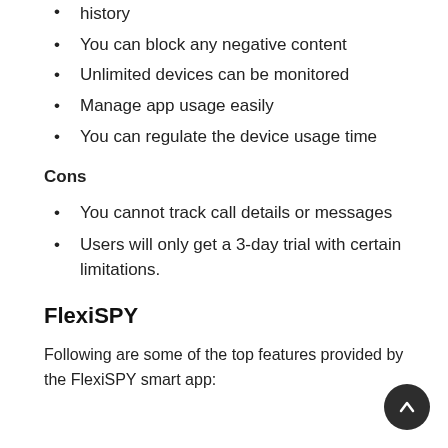history
You can block any negative content
Unlimited devices can be monitored
Manage app usage easily
You can regulate the device usage time
Cons
You cannot track call details or messages
Users will only get a 3-day trial with certain limitations.
FlexiSPY
Following are some of the top features provided by the FlexiSPY smart app: